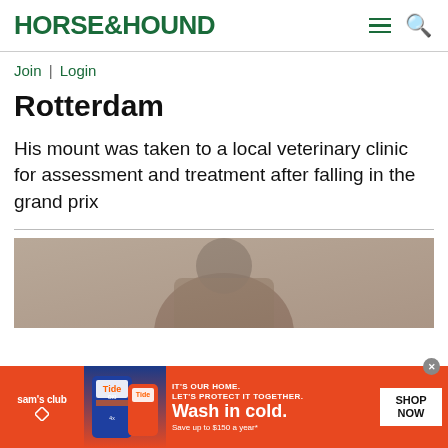HORSE&HOUND
Join | Login
Rotterdam
His mount was taken to a local veterinary clinic for assessment and treatment after falling in the grand prix
[Figure (photo): Blurry close-up photo of a horse and rider, muted brown and grey tones]
[Figure (other): Sam's Club advertisement banner featuring Tide Oxi laundry detergent with text 'IT'S OUR HOME. LET'S PROTECT IT TOGETHER. Wash in cold. Save up to $150 a year*' and SHOP NOW button]